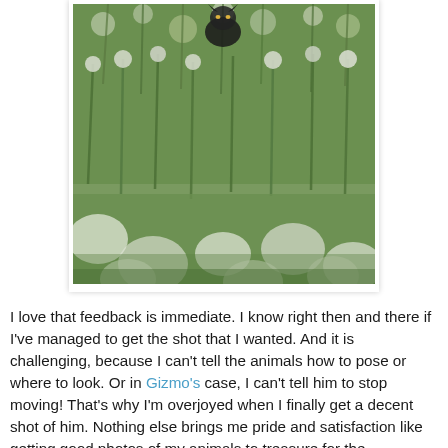[Figure (photo): A photograph of a cat (Gizmo) partially visible among tall green grass and white wildflowers/dandelions, shot from a low angle with a shallow depth of field.]
I love that feedback is immediate. I know right then and there if I've managed to get the shot that I wanted. And it is challenging, because I can't tell the animals how to pose or where to look. Or in Gizmo's case, I can't tell him to stop moving! That's why I'm overjoyed when I finally get a decent shot of him. Nothing else brings me pride and satisfaction like getting good photos of my animals to treasure for the